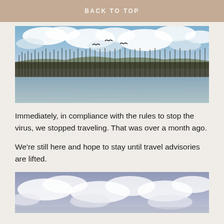BACK TO TOP
[Figure (photo): Landscape photo of a lake with tall reeds/marsh grasses along the far bank, birds in flight against a cloudy blue sky, with calm water in the foreground reflecting the scene]
Immediately, in compliance with the rules to stop the virus, we stopped traveling. That was over a month ago.
We’re still here and hope to stay until travel advisories are lifted.
[Figure (photo): Partial photo showing a cloudy sky with blue patches and puffy cumulus clouds, slightly warm/purple-toned]